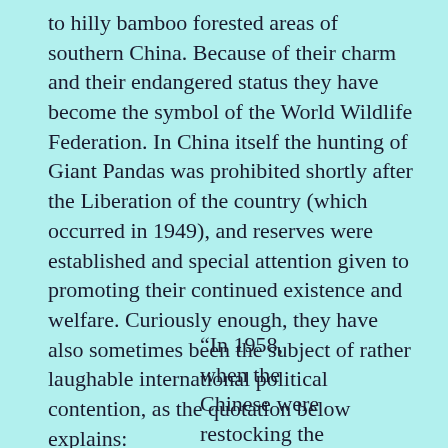to hilly bamboo forested areas of southern China. Because of their charm and their endangered status they have become the symbol of the World Wildlife Federation. In China itself the hunting of Giant Pandas was prohibited shortly after the Liberation of the country (which occurred in 1949), and reserves were established and special attention given to promoting their continued existence and welfare. Curiously enough, they have also sometimes been the subject of rather laughable international political contention, as the quotation below explains:
“In 1958, when the Chinese were restocking the Peking Zoo, an Austrian animal dealer named Heini